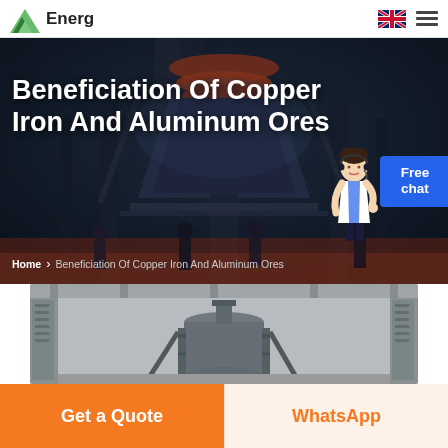Energ
[Figure (photo): Industrial hero banner showing large cone crusher/mining machinery in a dark industrial facility with workers/figures, overlaid with large white bold text]
Beneficiation Of Copper Iron And Aluminum Ores
Home > Beneficiation Of Copper Iron And Aluminum Ores
[Figure (photo): Industrial machinery/mill equipment inside a large factory building with Chinese signage visible]
Get a Quote
WhatsApp